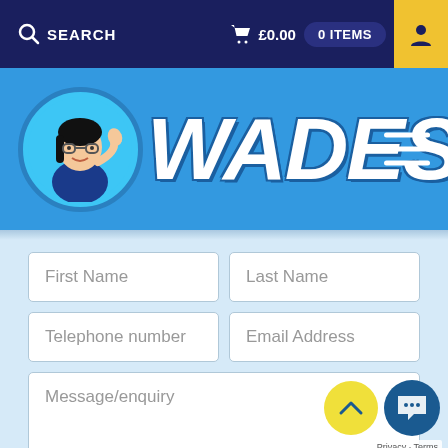SEARCH   £0.00   0 ITEMS
[Figure (logo): Wades store logo with cartoon character and WADES text on blue background]
First Name
Last Name
Telephone number
Email Address
Message/enquiry
Receive news and special offers from Wades
SEND MESSAGE